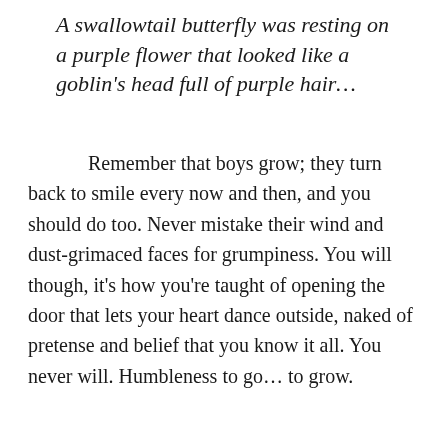A swallowtail butterfly was resting on a purple flower that looked like a goblin's head full of purple hair…
Remember that boys grow; they turn back to smile every now and then, and you should do too. Never mistake their wind and dust-grimaced faces for grumpiness. You will though, it's how you're taught of opening the door that lets your heart dance outside, naked of pretense and belief that you know it all. You never will. Humbleness to go… to grow.